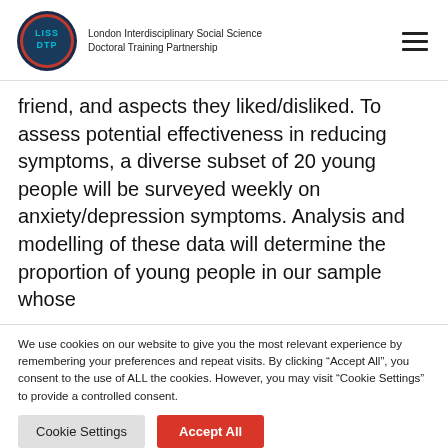London Interdisciplinary Social Science Doctoral Training Partnership
friend, and aspects they liked/disliked. To assess potential effectiveness in reducing symptoms, a diverse subset of 20 young people will be surveyed weekly on anxiety/depression symptoms. Analysis and modelling of these data will determine the proportion of young people in our sample whose
We use cookies on our website to give you the most relevant experience by remembering your preferences and repeat visits. By clicking “Accept All”, you consent to the use of ALL the cookies. However, you may visit “Cookie Settings” to provide a controlled consent.
Cookie Settings | Accept All